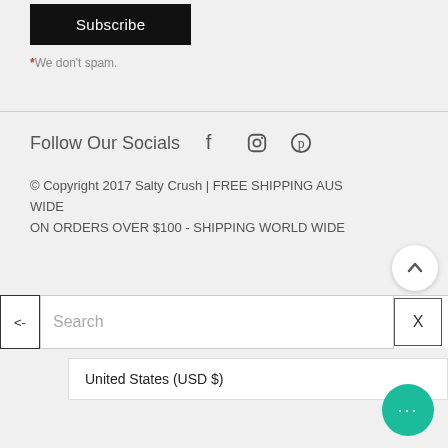Subscribe
* We don't spam.
Follow Our Socials
© Copyright 2017 Salty Crush | FREE SHIPPING AUS WIDE ON ORDERS OVER $100 - SHIPPING WORLD WIDE
TOP
Search
United States (USD $)